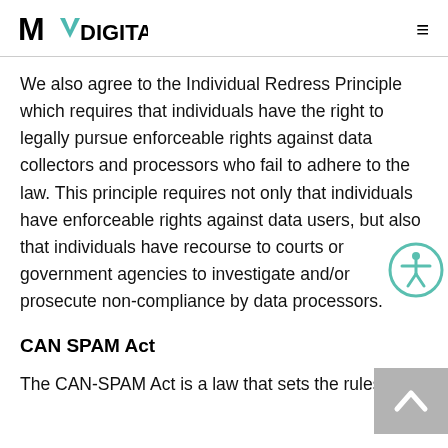MV DIGITAL
We also agree to the Individual Redress Principle which requires that individuals have the right to legally pursue enforceable rights against data collectors and processors who fail to adhere to the law. This principle requires not only that individuals have enforceable rights against data users, but also that individuals have recourse to courts or government agencies to investigate and/or prosecute non-compliance by data processors.
CAN SPAM Act
The CAN-SPAM Act is a law that sets the rules for